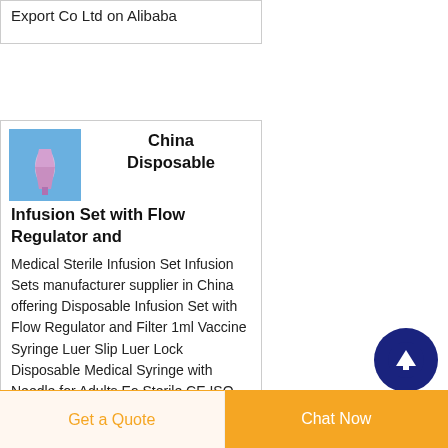Export Co Ltd on Alibaba
China Disposable Infusion Set with Flow Regulator and
Medical Sterile Infusion Set Infusion Sets manufacturer supplier in China offering Disposable Infusion Set with Flow Regulator and Filter 1ml Vaccine Syringe Luer Slip Luer Lock Disposable Medical Syringe with Needle for Adults Eo Sterile CE ISO Disposable Medical Hypodermic Needles
[Figure (illustration): Small blue-background thumbnail image of a disposable infusion set / syringe tip]
[Figure (other): Dark blue circular button with upward arrow icon (scroll to top)]
Get a Quote
Chat Now